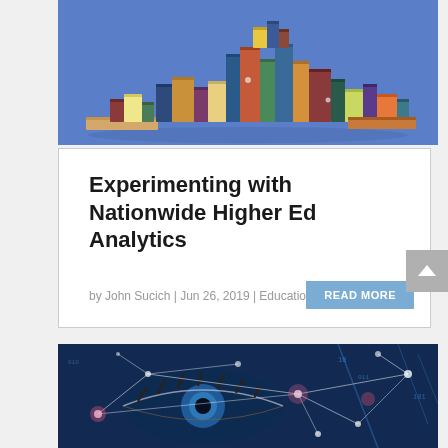[Figure (illustration): Colorful stacked books on a blue background illustration]
Experimenting with Nationwide Higher Ed Analytics
by John Sucich | Jun 26, 2019 | Education
[Figure (photo): Close-up eye with digital network overlay and blue light effects]